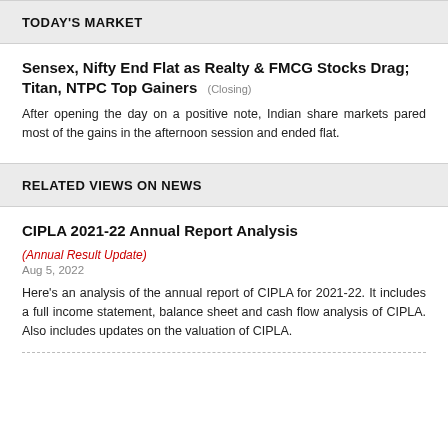TODAY'S MARKET
Sensex, Nifty End Flat as Realty & FMCG Stocks Drag; Titan, NTPC Top Gainers (Closing)
After opening the day on a positive note, Indian share markets pared most of the gains in the afternoon session and ended flat.
RELATED VIEWS ON NEWS
CIPLA 2021-22 Annual Report Analysis
(Annual Result Update)
Aug 5, 2022
Here's an analysis of the annual report of CIPLA for 2021-22. It includes a full income statement, balance sheet and cash flow analysis of CIPLA. Also includes updates on the valuation of CIPLA.